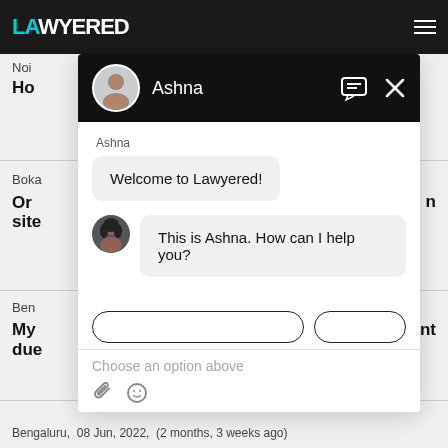[Figure (screenshot): Screenshot of Lawyered website with a chat widget open. The chat widget shows a conversation with Ashna, with messages 'Welcome to Lawyered!' and 'This is Ashna. How can I help you?' The website background shows partial text about legal services. Bottom footer shows 'Bengaluru, 08 Jun, 2022, (2 months, 3 weeks ago)']
Bengaluru,  08 Jun, 2022,  (2 months, 3 weeks ago)